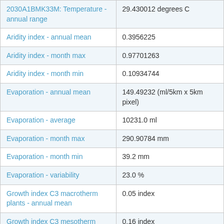| Variable | Value |
| --- | --- |
| 2030A1BMK33M: Temperature - annual range | 29.430012 degrees C |
| Aridity index - annual mean | 0.3956225 |
| Aridity index - month max | 0.97701263 |
| Aridity index - month min | 0.10934744 |
| Evaporation - annual mean | 149.49232 (ml/5km x 5km pixel) |
| Evaporation - average | 10231.0 ml |
| Evaporation - month max | 290.90784 mm |
| Evaporation - month min | 39.2 mm |
| Evaporation - variability | 23.0 % |
| Growth index C3 macrotherm plants - annual mean | 0.05 index |
| Growth index C3 mesotherm plants - annual mean | 0.16 index |
| Growth index C4 megatherm plants - annual mean | 0.04 index |